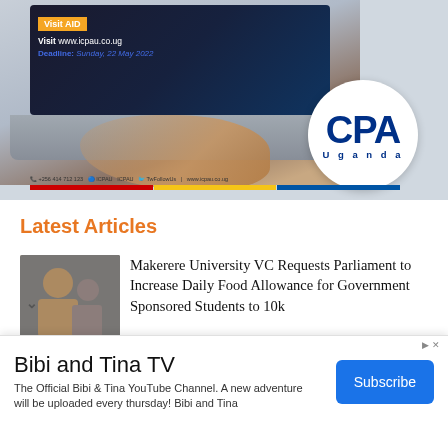[Figure (photo): CPA Uganda advertisement banner showing a laptop with a screen displaying 'Visit www.icpau.co.ug' and 'Deadline: Sunday, 22 May 2022', with a CPA Uganda logo circle badge and a red-yellow-blue color bar at the bottom]
Latest Articles
[Figure (photo): Thumbnail photo of a person in glasses and suit, with other people in background]
Makerere University VC Requests Parliament to Increase Daily Food Allowance for Government Sponsored Students to 10k
[Figure (other): Advertisement banner for Bibi and Tina TV YouTube channel with Subscribe button]
Bibi and Tina TV
The Official Bibi & Tina YouTube Channel. A new adventure will be uploaded every thursday! Bibi and Tina